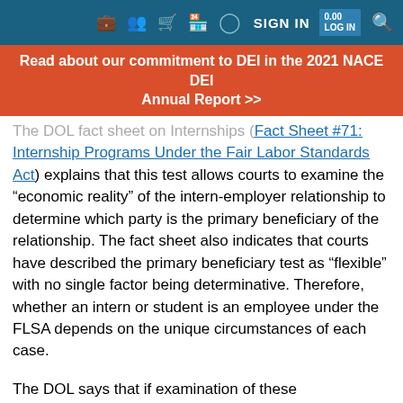SIGN IN
Read about our commitment to DEI in the 2021 NACE DEI Annual Report >>
Fact Sheet #71: Internship Programs Under the Fair Labor Standards Act) explains that this test allows courts to examine the “economic reality” of the intern-employer relationship to determine which party is the primary beneficiary of the relationship. The fact sheet also indicates that courts have described the primary beneficiary test as “flexible” with no single factor being determinative. Therefore, whether an intern or student is an employee under the FLSA depends on the unique circumstances of each case.
The DOL says that if examination of these circumstances reveals that an intern or student is an employee, then he or she is entitled to both minimum